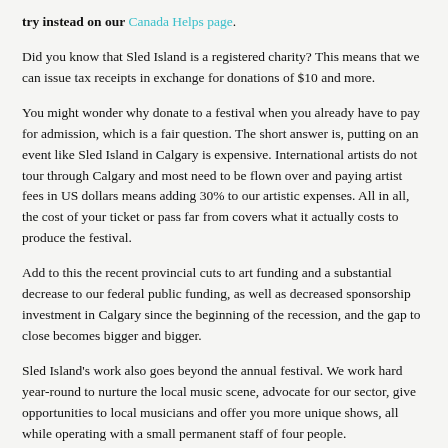try instead on our Canada Helps page.
Did you know that Sled Island is a registered charity? This means that we can issue tax receipts in exchange for donations of $10 and more.
You might wonder why donate to a festival when you already have to pay for admission, which is a fair question. The short answer is, putting on an event like Sled Island in Calgary is expensive. International artists do not tour through Calgary and most need to be flown over and paying artist fees in US dollars means adding 30% to our artistic expenses. All in all, the cost of your ticket or pass far from covers what it actually costs to produce the festival.
Add to this the recent provincial cuts to art funding and a substantial decrease to our federal public funding, as well as decreased sponsorship investment in Calgary since the beginning of the recession, and the gap to close becomes bigger and bigger.
Sled Island's work also goes beyond the annual festival. We work hard year-round to nurture the local music scene, advocate for our sector, give opportunities to local musicians and offer you more unique shows, all while operating with a small permanent staff of four people.
If you think our work is meaningful and brings value to Calgary's